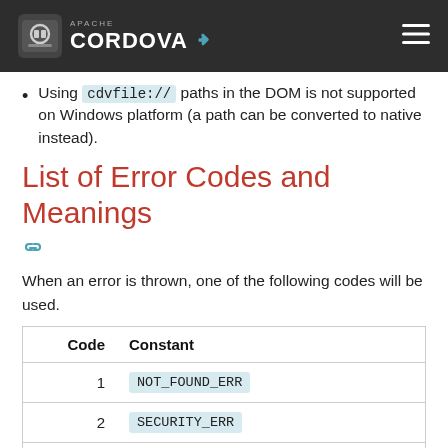Apache Cordova
Using cdvfile:// paths in the DOM is not supported on Windows platform (a path can be converted to native instead).
List of Error Codes and Meanings
When an error is thrown, one of the following codes will be used.
| Code | Constant |
| --- | --- |
| 1 | NOT_FOUND_ERR |
| 2 | SECURITY_ERR |
| 3 | ABORT_ERR |